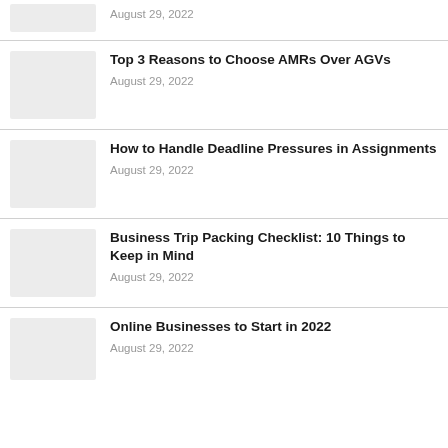August 29, 2022
Top 3 Reasons to Choose AMRs Over AGVs
August 29, 2022
How to Handle Deadline Pressures in Assignments
August 29, 2022
Business Trip Packing Checklist: 10 Things to Keep in Mind
August 29, 2022
Online Businesses to Start in 2022
August 29, 2022